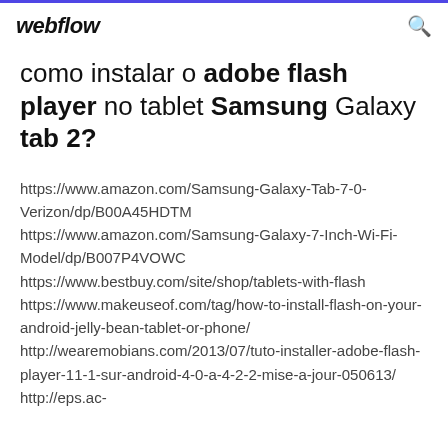webflow
como instalar o adobe flash player no tablet Samsung Galaxy tab 2?
https://www.amazon.com/Samsung-Galaxy-Tab-7-0-Verizon/dp/B00A45HDTM https://www.amazon.com/Samsung-Galaxy-7-Inch-Wi-Fi-Model/dp/B007P4VOWC https://www.bestbuy.com/site/shop/tablets-with-flash https://www.makeuseof.com/tag/how-to-install-flash-on-your-android-jelly-bean-tablet-or-phone/ http://wearemobians.com/2013/07/tuto-installer-adobe-flash-player-11-1-sur-android-4-0-a-4-2-2-mise-a-jour-050613/ http://eps.ac-